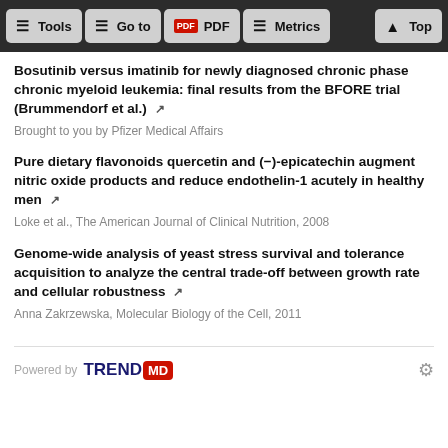Tools | Go to | PDF | Metrics | Top
Bosutinib versus imatinib for newly diagnosed chronic phase chronic myeloid leukemia: final results from the BFORE trial (Brummendorf et al.)
Brought to you by Pfizer Medical Affairs
Pure dietary flavonoids quercetin and (−)-epicatechin augment nitric oxide products and reduce endothelin-1 acutely in healthy men
Loke et al., The American Journal of Clinical Nutrition, 2008
Genome-wide analysis of yeast stress survival and tolerance acquisition to analyze the central trade-off between growth rate and cellular robustness
Anna Zakrzewska, Molecular Biology of the Cell, 2011
Powered by TRENDMD